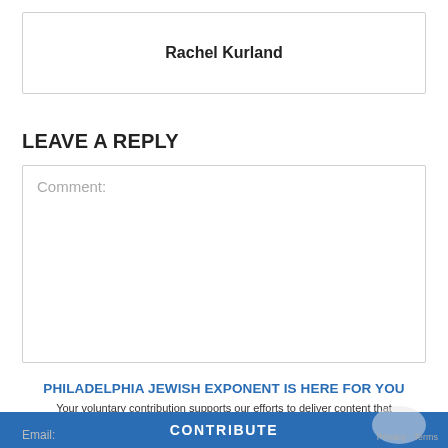Rachel Kurland
LEAVE A REPLY
Comment:
PHILADELPHIA JEWISH EXPONENT IS HERE FOR YOU
Your voluntary contribution supports our efforts to deliver content that engages and helps strengthen the Jewish community in the Philadelphia area.
CONTRIBUTE
Email: